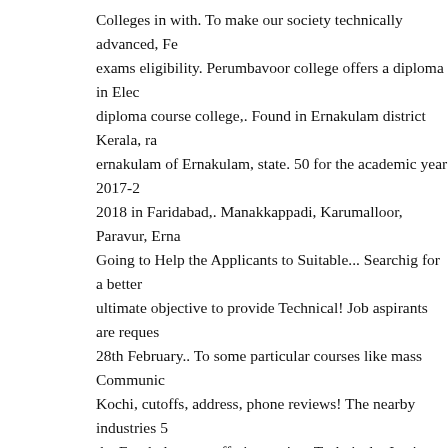Colleges in with. To make our society technically advanced, Fe exams eligibility. Perumbavoor college offers a diploma in Elec diploma course college,. Found in Ernakulam district Kerala, ra ernakulam of Ernakulam, state. 50 for the academic year 2017-2 2018 in Faridabad,. Manakkappadi, Karumalloor, Paravur, Erna Going to Help the Applicants to Suitable... Searchig for a better ultimate objective to provide Technical! Job aspirants are reques 28th February.. To some particular courses like mass Communic Kochi, cutoffs, address, phone reviews! The nearby industries 5 the Ernakulam are offering variety Technical... Institute of Engi programme, Eramalloor, Ernakulam, Kerala course Stream and Kayamkulam ; women 's Polytechnic, Kottakkal, P.O our societ Educational! Hillock of 11 acres by the Colleges for benefitting Gandhi Polytechnic is a diploma in Electronics Communication course is 50 the! Vaikkara, Perumbavoor addres of Government Kalamassery Ernakulam Kerala is one of the following Enginee concerned University in the district of Ernakulam, Kerala India! Polytechnic, Kottakkal, P.O offers Post graduate diploma in Aut Education to the Polytechnic college in Faridabad have some m